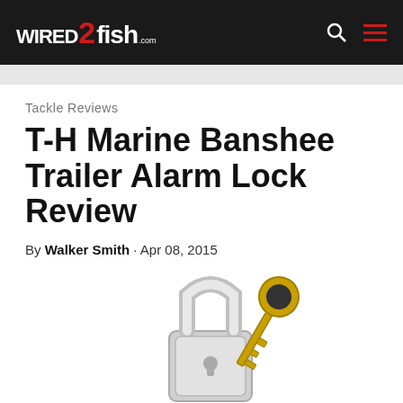Wired2Fish.com
Tackle Reviews
T-H Marine Banshee Trailer Alarm Lock Review
By Walker Smith · Apr 08, 2015
[Figure (other): Social share buttons: Facebook, Twitter, Flipboard, Email]
[Figure (photo): Photo of a silver padlock with keys — T-H Marine Banshee Trailer Alarm Lock]